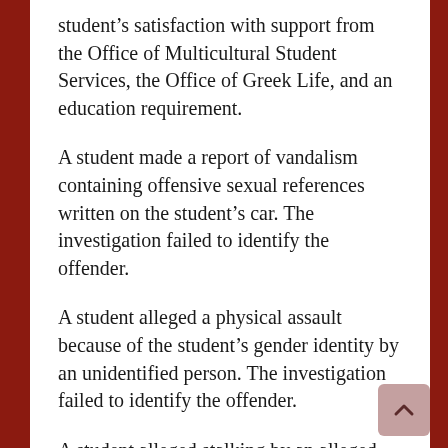student's satisfaction with support from the Office of Multicultural Student Services, the Office of Greek Life, and an education requirement.
A student made a report of vandalism containing offensive sexual references written on the student's car. The investigation failed to identify the offender.
A student alleged a physical assault because of the student's gender identity by an unidentified person. The investigation failed to identify the offender.
A student alleged stalking by an alleged assailant